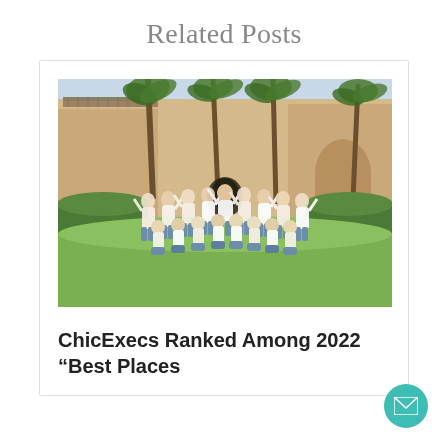Related Posts
[Figure (photo): Group photo of approximately 40 women wearing white tops and jeans, posing outdoors on a green lawn in front of a building with palm trees. Some are kneeling in front, others standing with arms raised.]
ChicExecs Ranked Among 2022 “Best Places